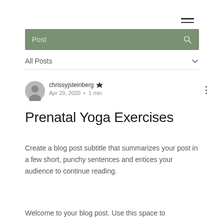[Figure (illustration): Hamburger menu icon (three horizontal lines) in top-right corner]
Post
All Posts
[Figure (illustration): Circular avatar silhouette icon for user chrissyjsteinberg]
chrissyjsteinberg ♛
Apr 29, 2020  •  1 min
Prenatal Yoga Exercises
Create a blog post subtitle that summarizes your post in a few short, punchy sentences and entices your audience to continue reading.
Welcome to your blog post. Use this space to